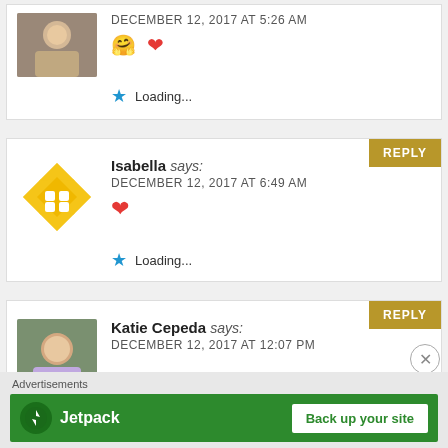DECEMBER 12, 2017 AT 5:26 AM
🤗 ❤️
★ Loading...
Isabella says:
DECEMBER 12, 2017 AT 6:49 AM
❤️
★ Loading...
Katie Cepeda says:
DECEMBER 12, 2017 AT 12:07 PM
Advertisements
[Figure (screenshot): Jetpack advertisement banner with 'Back up your site' call to action]